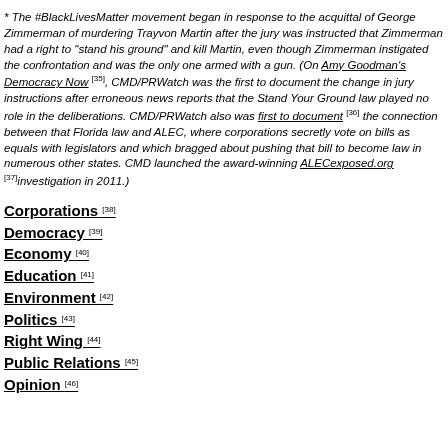* The #BlackLivesMatter movement began in response to the acquittal of George Zimmerman of murdering Trayvon Martin after the jury was instructed that Zimmerman had a right to "stand his ground" and kill Martin, even though Zimmerman instigated the confrontation and was the only one armed with a gun. (On Amy Goodman's Democracy Now [35], CMD/PRWatch was the first to document the change in jury instructions after erroneous news reports that the Stand Your Ground law played no role in the deliberations. CMD/PRWatch also was first to document [36] the connection between that Florida law and ALEC, where corporations secretly vote on bills as equals with legislators and which bragged about pushing that bill to become law in numerous other states. CMD launched the award-winning ALECexposed.org [37] investigation in 2011.)
Corporations [38]
Democracy [39]
Economy [40]
Education [41]
Environment [42]
Politics [43]
Right Wing [44]
Public Relations [45]
Opinion [46]